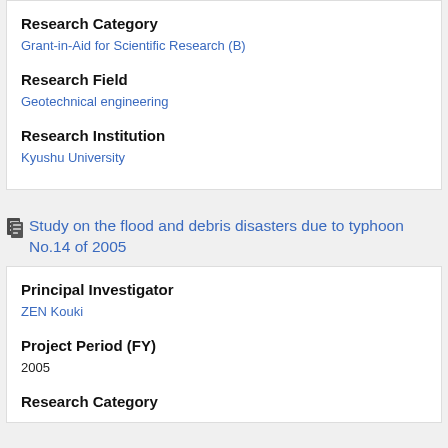Research Category
Grant-in-Aid for Scientific Research (B)
Research Field
Geotechnical engineering
Research Institution
Kyushu University
Study on the flood and debris disasters due to typhoon No.14 of 2005
Principal Investigator
ZEN Kouki
Project Period (FY)
2005
Research Category